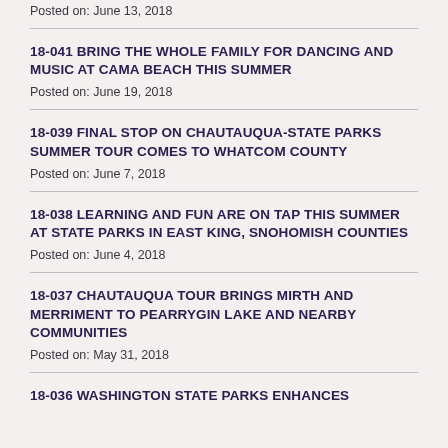Posted on: June 13, 2018
18-041 BRING THE WHOLE FAMILY FOR DANCING AND MUSIC AT CAMA BEACH THIS SUMMER
Posted on: June 19, 2018
18-039 FINAL STOP ON CHAUTAUQUA-STATE PARKS SUMMER TOUR COMES TO WHATCOM COUNTY
Posted on: June 7, 2018
18-038 LEARNING AND FUN ARE ON TAP THIS SUMMER AT STATE PARKS IN EAST KING, SNOHOMISH COUNTIES
Posted on: June 4, 2018
18-037 CHAUTAUQUA TOUR BRINGS MIRTH AND MERRIMENT TO PEARRYGIN LAKE AND NEARBY COMMUNITIES
Posted on: May 31, 2018
18-036 WASHINGTON STATE PARKS ENHANCES